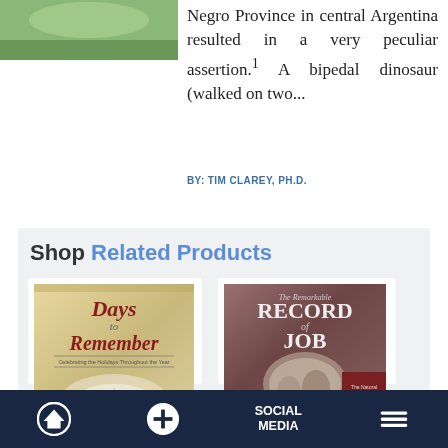[Figure (photo): Partial book or dinosaur image cropped at top left]
Negro Province in central Argentina resulted in a very peculiar assertion.¹ A bipedal dinosaur (walked on two...
BY: TIM CLAREY, PH.D.
Shop Related Products
[Figure (photo): Book cover: Days to Remember by Henry M. Morris]
Days to Remember
$9.99
[Figure (photo): Book cover: The Remarkable Record of Job by Henry M. Morris]
The Remarkable Record of Job
$9.00
Home | + | SOCIAL MEDIA | Menu